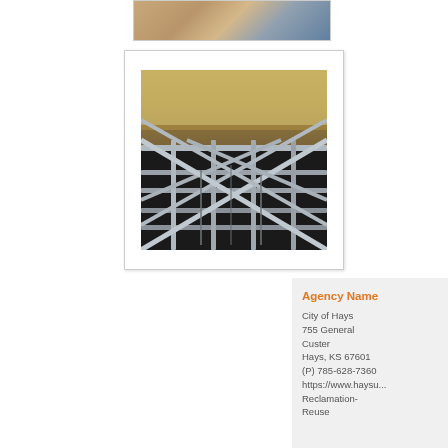[Figure (photo): Aerial partial view of a circular water treatment or storage tank facility]
[Figure (photo): Overhead view of a water treatment facility showing metal framework/trusses over filtration media beds with sandy water visible]
Agency Name
City of Hays
755 General Custer
Hays, KS 67601
(P) 785-628-7360
https://www.haysu... Reclamation-Reuse